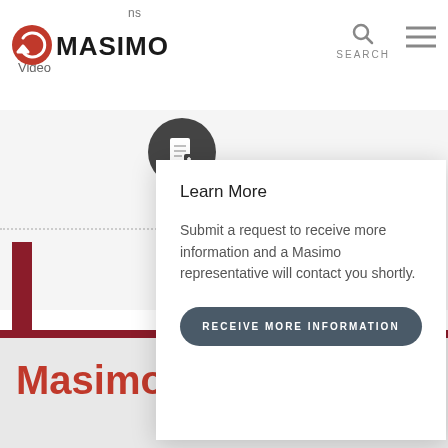[Figure (logo): Masimo logo with red circular arrow icon and bold Masimo wordmark]
[Figure (screenshot): Masimo website navigation bar with search icon and hamburger menu]
Learn More
Submit a request to receive more information and a Masimo representative will contact you shortly.
RECEIVE MORE INFORMATION
Masimo